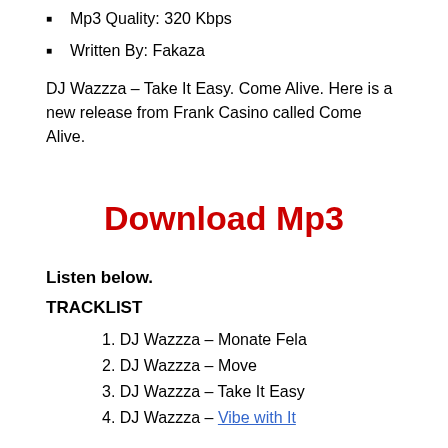Mp3 Quality: 320 Kbps
Written By: Fakaza
DJ Wazzza – Take It Easy. Come Alive. Here is a new release from Frank Casino called Come Alive.
Download Mp3
Listen below.
TRACKLIST
1. DJ Wazzza – Monate Fela
2. DJ Wazzza – Move
3. DJ Wazzza – Take It Easy
4. DJ Wazzza – Vibe with It